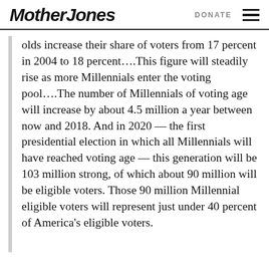Mother Jones   DONATE
olds increase their share of voters from 17 percent in 2004 to 18 percent....This figure will steadily rise as more Millennials enter the voting pool....The number of Millennials of voting age will increase by about 4.5 million a year between now and 2018. And in 2020 — the first presidential election in which all Millennials will have reached voting age — this generation will be 103 million strong, of which about 90 million will be eligible voters. Those 90 million Millennial eligible voters will represent just under 40 percent of America's eligible voters.